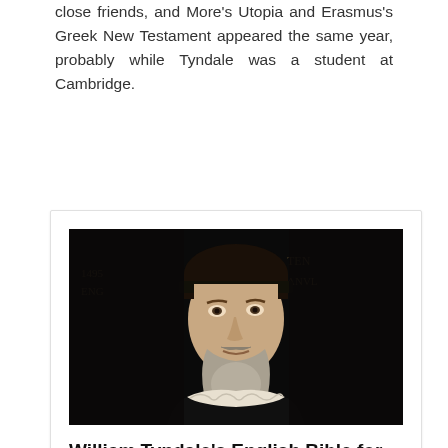close friends, and More's Utopia and Erasmus's Greek New Testament appeared the same year, probably while Tyndale was a student at Cambridge.
[Figure (photo): Portrait painting of William Tyndale, a man with a grey beard wearing dark clothing with a white ruff collar, against a dark background with faint text markings]
William Tyndale's English Bible for the Plow boy
The importance of the Tyndale Bible in shaping and influencing the English language cannot be